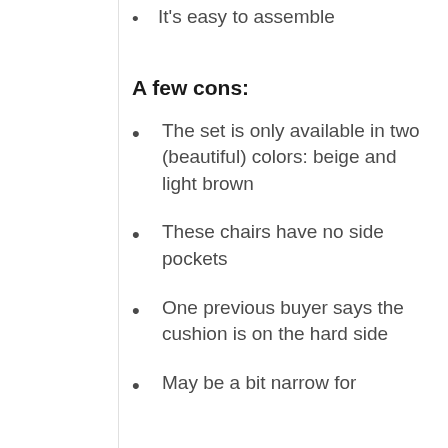It's easy to assemble
A few cons:
The set is only available in two (beautiful) colors: beige and light brown
These chairs have no side pockets
One previous buyer says the cushion is on the hard side
May be a bit narrow for